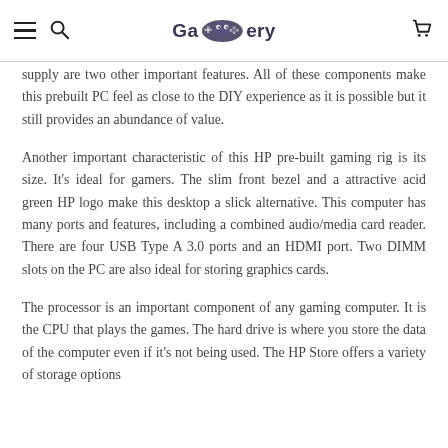Gagery [logo with gamepad icon]
supply are two other important features. All of these components make this prebuilt PC feel as close to the DIY experience as it is possible but it still provides an abundance of value.
Another important characteristic of this HP pre-built gaming rig is its size. It's ideal for gamers. The slim front bezel and a attractive acid green HP logo make this desktop a slick alternative. This computer has many ports and features, including a combined audio/media card reader. There are four USB Type A 3.0 ports and an HDMI port. Two DIMM slots on the PC are also ideal for storing graphics cards.
The processor is an important component of any gaming computer. It is the CPU that plays the games. The hard drive is where you store the data of the computer even if it's not being used. The HP Store offers a variety of storage options